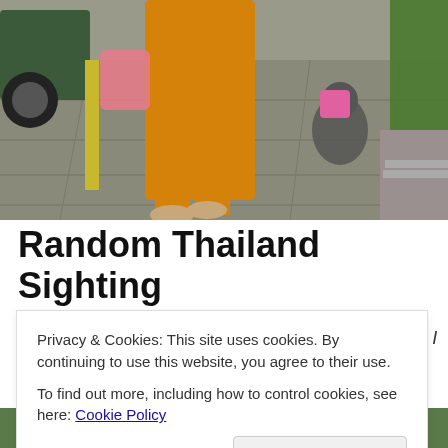[Figure (photo): Street scene in Thailand showing a Buddhist monk in orange robes walking barefoot on a sidewalk, carrying a pink plastic bag. A dog wearing a pink backpack is visible to the right. Cars are parked on the left. The photo is taken from behind the subjects looking down the sidewalk.]
Random Thailand Sighting
One of the things I love about life in Thailand is that I
Privacy & Cookies: This site uses cookies. By continuing to use this website, you agree to their use.
To find out more, including how to control cookies, see here: Cookie Policy
[Figure (photo): Bottom strip of another photo showing green foliage/garden scene, partially visible at the bottom of the page.]